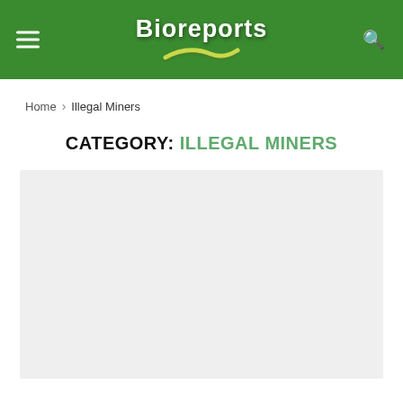Bioreports
Home > Illegal Miners
CATEGORY: ILLEGAL MINERS
[Figure (photo): Light grey placeholder image area below the category heading]